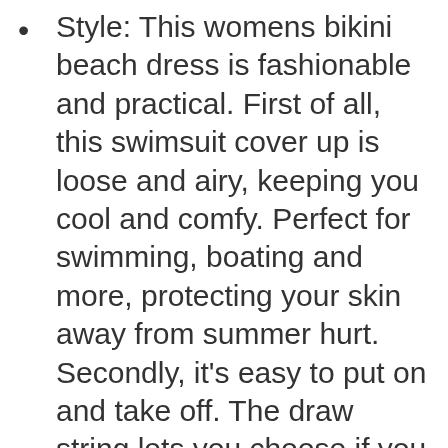Style: This womens bikini beach dress is fashionable and practical. First of all, this swimsuit cover up is loose and airy, keeping you cool and comfy. Perfect for swimming, boating and more, protecting your skin away from summer hurt. Secondly, it's easy to put on and take off. The draw string lets you choose if you want a more loose fit or a tighter fit. Moreover, it's flattering for all body shapes.
Perfect Length: The length of this bathing suit coverups is just right to